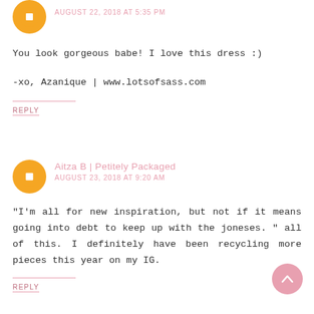AUGUST 22, 2018 AT 5:35 PM
You look gorgeous babe! I love this dress :)
-xo, Azanique | www.lotsofsass.com
REPLY
Aitza B | Petitely Packaged
AUGUST 23, 2018 AT 9:20 AM
"I'm all for new inspiration, but not if it means going into debt to keep up with the joneses. " all of this. I definitely have been recycling more pieces this year on my IG.
REPLY